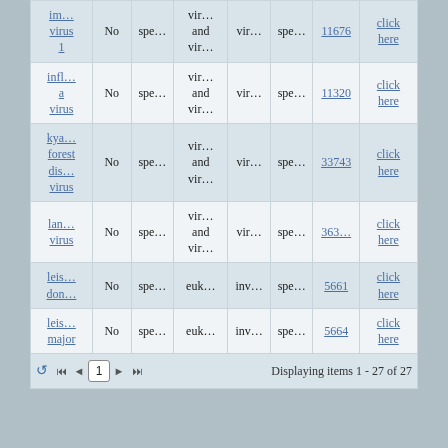| Name | Col2 | Col3 | Col4 | Col5 | Col6 | Col7 | Col8 |
| --- | --- | --- | --- | --- | --- | --- | --- |
| im…
virus
1 | No | spe… | vir…
and
vir… | vir… | spe… | 11676 | click here |
| infl…
a
virus | No | spe… | vir…
and
vir… | vir… | spe… | 11320 | click here |
| kya…
forest
dis…
virus | No | spe… | vir…
and
vir… | vir… | spe… | 33743 | click here |
| lan…
virus | No | spe… | vir…
and
vir… | vir… | spe… | 363… | click here |
| leis…
don… | No | spe… | euk… | inv… | spe… | 5661 | click here |
| leis…
major | No | spe… | euk… | inv… | spe… | 5664 | click here |